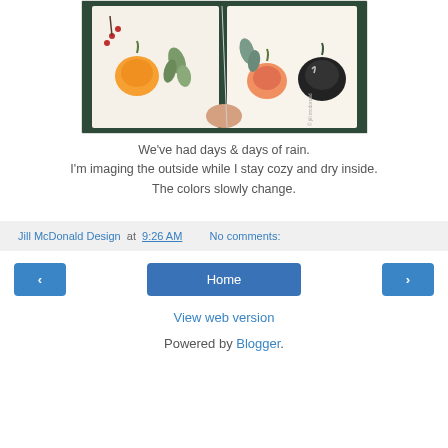[Figure (photo): A hand holding open a sketchbook or watercolor journal showing painted autumn pumpkins, botanical leaves, and berries in orange, black, teal, and red on white pages.]
We've had days & days of rain.
I'm imaging the outside while I stay cozy and dry inside.
The colors slowly change.
Jill McDonald Design at 9:26 AM   No comments:
‹   Home   ›
View web version
Powered by Blogger.